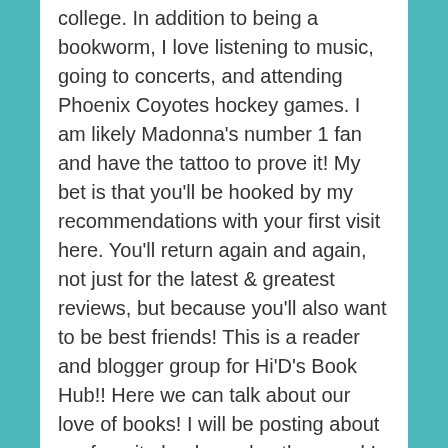college. In addition to being a bookworm, I love listening to music, going to concerts, and attending Phoenix Coyotes hockey games. I am likely Madonna's number 1 fan and have the tattoo to prove it! My bet is that you'll be hooked by my recommendations with your first visit here. You'll return again and again, not just for the latest & greatest reviews, but because you'll also want to be best friends! This is a reader and blogger group for Hi'D's Book Hub!! Here we can talk about our love of books! I will be posting about my favorite books and authors and I encourge you all to do the same!! PLEASE keep in mind my only rule is that we keep this a positive